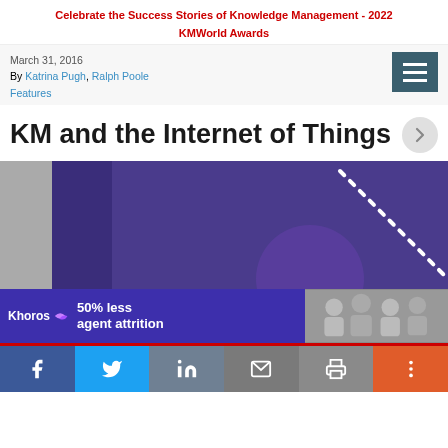Celebrate the Success Stories of Knowledge Management - 2022 KMWorld Awards
March 31, 2016
By Katrina Pugh, Ralph Poole
Features
KM and the Internet of Things
[Figure (illustration): Purple banner image for KM and the Internet of Things article, with dotted diagonal line and circular purple shape]
[Figure (advertisement): Khoros ad banner: 50% less agent attrition, with group photo on right]
Share buttons: Facebook, Twitter, LinkedIn, Email, Print, More